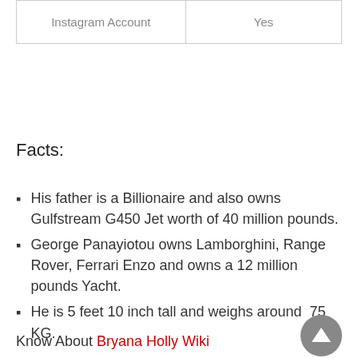| Instagram Account | Yes |
Facts:
His father is a Billionaire and also owns Gulfstream G450 Jet worth of 40 million pounds.
George Panayiotou owns Lamborghini, Range Rover, Ferrari Enzo and owns a 12 million pounds Yacht.
He is 5 feet 10 inch tall and weighs around  75 KG.
Know About Bryana Holly Wiki